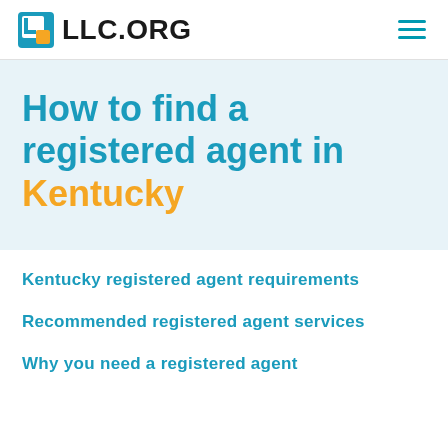LLC.ORG
How to find a registered agent in Kentucky
Kentucky registered agent requirements
Recommended registered agent services
Why you need a registered agent